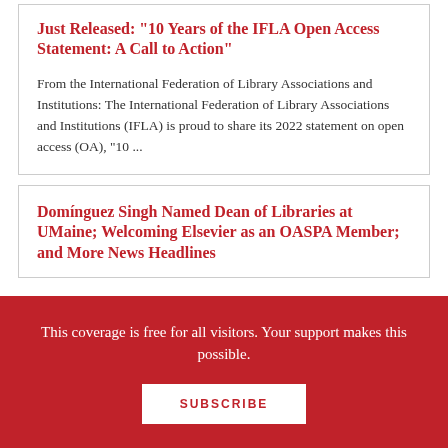Just Released: "10 Years of the IFLA Open Access Statement: A Call to Action"
From the International Federation of Library Associations and Institutions: The International Federation of Library Associations and Institutions (IFLA) is proud to share its 2022 statement on open access (OA), "10 ...
Domínguez Singh Named Dean of Libraries at UMaine; Welcoming Elsevier as an OASPA Member; and More News Headlines
This coverage is free for all visitors. Your support makes this possible.
SUBSCRIBE